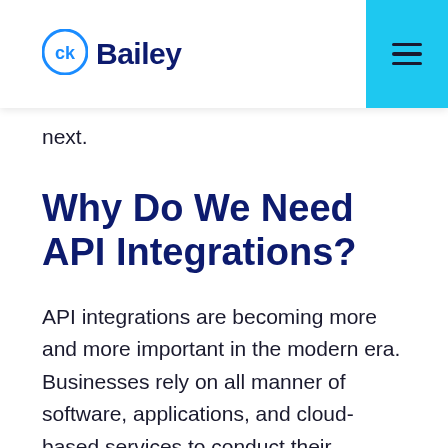Bailey
next.
Why Do We Need API Integrations?
API integrations are becoming more and more important in the modern era. Businesses rely on all manner of software, applications, and cloud-based services to conduct their everyday processes and tasks. Imagine a world where none of